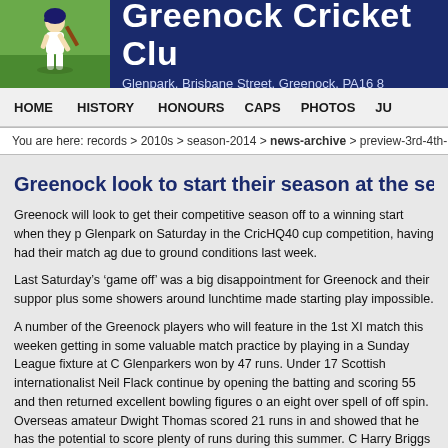[Figure (photo): Greenock Cricket Club website header with a cricket batsman photo on the left and the club name and address on a dark blue background]
Greenock Cricket Clu
Glenpark, Brisbane Street, Greenock, PA16 8
HOME   HISTORY   HONOURS   CAPS   PHOTOS   JU
You are here: records > 2010s > season-2014 > news-archive > preview-3rd-4th-
Greenock look to start their season at the second a
Greenock will look to get their competitive season off to a winning start when they p Glenpark on Saturday in the CricHQ40 cup competition, having had their match ag due to ground conditions last week.
Last Saturday's ‘game off’ was a big disappointment for Greenock and their suppor plus some showers around lunchtime made starting play impossible.
A number of the Greenock players who will feature in the 1st XI match this weeken getting in some valuable match practice by playing in a Sunday League fixture at C Glenparkers won by 47 runs. Under 17 Scottish internationalist Neil Flack continue by opening the batting and scoring 55 and then returned excellent bowling figures o an eight over spell of off spin. Overseas amateur Dwight Thomas scored 21 runs in and showed that he has the potential to score plenty of runs during this summer. C Harry Briggs and Louis Ware also scored good runs as Greenock put together a us